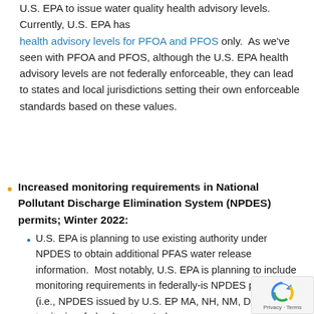U.S. EPA to issue water quality health advisory levels. Currently, U.S. EPA has health advisory levels for PFOA and PFOS only.  As we've seen with PFOA and PFOS, although the U.S. EPA health advisory levels are not federally enforceable, they can lead to states and local jurisdictions setting their own enforceable standards based on these values.
Increased monitoring requirements in National Pollutant Discharge Elimination System (NPDES) permits; Winter 2022:
U.S. EPA is planning to use existing authority under NPDES to obtain additional PFAS water release information.  Most notably, U.S. EPA is planning to include monitoring requirements in federally-is[sued] NPDES permits (i.e., NPDES issued by U.S. EPA[,] MA, NH, NM, DC, territories, federal waters, Indian[...]